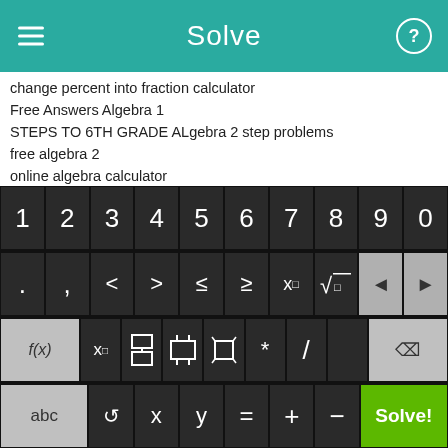Solve
change percent into fraction calculator
Free Answers Algebra 1
STEPS TO 6TH GRADE ALgebra 2 step problems
free algebra 2
online algebra calculator
free rational equastion calculator
glencoe mcgraw-hill algebra 1
adding and subtracting integers worksheets
algebra cube calculator
properties of rational exponents worksheet
[Figure (screenshot): On-screen math keyboard with rows: digits 1-9,0; operators . , < > ≤ ≥ x^□ √□ backspace arrow; function keys f(x) x□ fraction absolute-value parentheses * / delete; bottom row abc ↺ x y = + − Solve! green button]